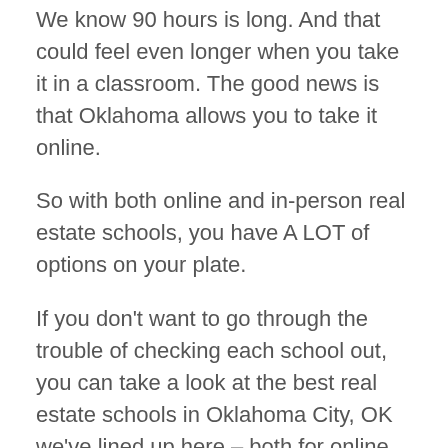We know 90 hours is long. And that could feel even longer when you take it in a classroom. The good news is that Oklahoma allows you to take it online.
So with both online and in-person real estate schools, you have A LOT of options on your plate.
If you don't want to go through the trouble of checking each school out, you can take a look at the best real estate schools in Oklahoma City, OK we've lined up here – both for online and classroom-based courses.
Best Online Real Estate Schools in